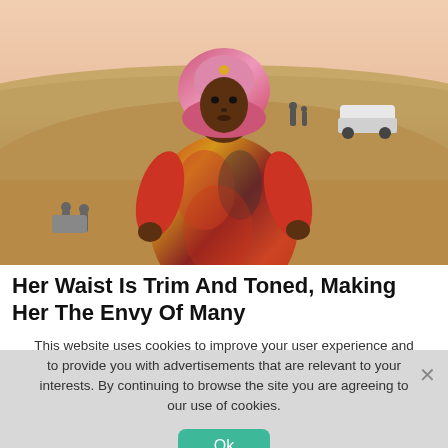[Figure (photo): A woman wearing a colorful red and gold patterned outfit and a pink hijab, posing with hands on hips in a desert sand dune landscape. A white SUV and other people are visible in the background on a sand ridge.]
Her Waist Is Trim And Toned, Making Her The Envy Of Many
This website uses cookies to improve your user experience and to provide you with advertisements that are relevant to your interests. By continuing to browse the site you are agreeing to our use of cookies.
Ok